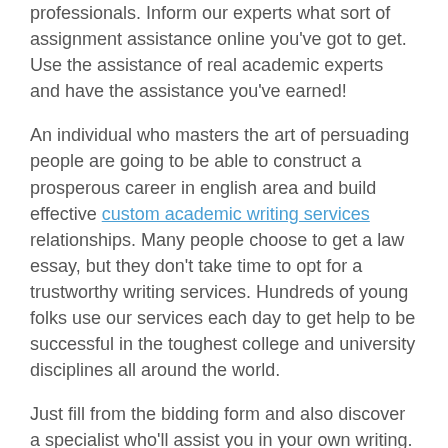professionals. Inform our experts what sort of assignment assistance online you've got to get. Use the assistance of real academic experts and have the assistance you've earned!
An individual who masters the art of persuading people are going to be able to construct a prosperous career in english area and build effective custom academic writing services relationships. Many people choose to get a law essay, but they don't take time to opt for a trustworthy writing services. Hundreds of young folks use our services each day to get help to be successful in the toughest college and university disciplines all around the world.
Just fill from the bidding form and also discover a specialist who'll assist you in your own writing. Online writing help is one of the best things the web has to provide you. Inform our pros what kind of homework assistance online you will have to have.